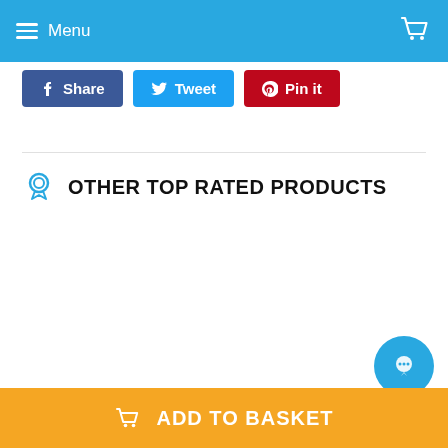Menu
Share  Tweet  Pin it
OTHER TOP RATED PRODUCTS
ADD TO BASKET